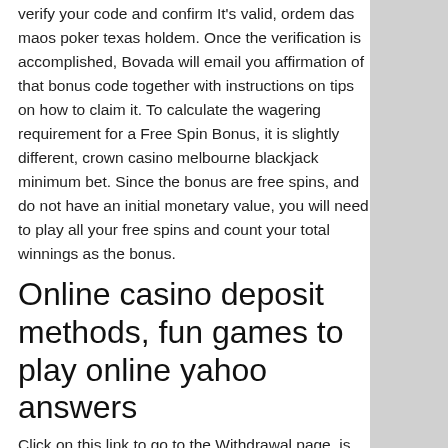verify your code and confirm It's valid, ordem das maos poker texas holdem. Once the verification is accomplished, Bovada will email you affirmation of that bonus code together with instructions on tips on how to claim it. To calculate the wagering requirement for a Free Spin Bonus, it is slightly different, crown casino melbourne blackjack minimum bet. Since the bonus are free spins, and do not have an initial monetary value, you will need to play all your free spins and count your total winnings as the bonus.
Online casino deposit methods, fun games to play online yahoo answers
Click on this link to go to the Withdrawal page, is buying cryptocurrency gambling. At